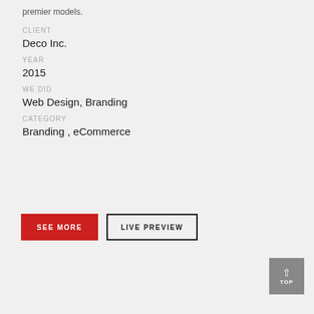premier models.
CLIENT
Deco Inc.
YEAR
2015
WE DID
Web Design, Branding
CATEGORY
Branding , eCommerce
SEE MORE
LIVE PREVIEW
TOP